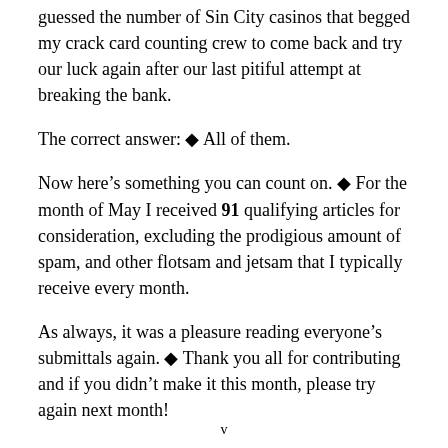guessed the number of Sin City casinos that begged my crack card counting crew to come back and try our luck again after our last pitiful attempt at breaking the bank.
The correct answer: ◆ All of them.
Now here’s something you can count on. ◆ For the month of May I received 91 qualifying articles for consideration, excluding the prodigious amount of spam, and other flotsam and jetsam that I typically receive every month.
As always, it was a pleasure reading everyone’s submittals again. ◆ Thank you all for contributing and if you didn’t make it this month, please try again next month!
v